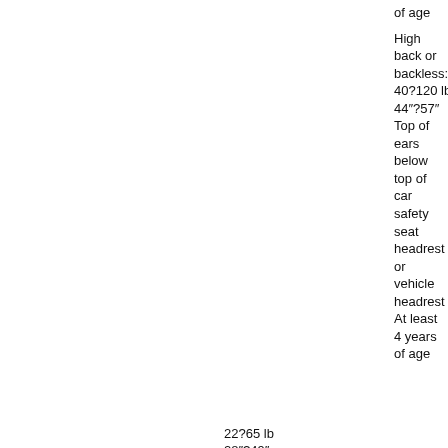|  |  |  |  | of age |  |
|  |  |  |  | High back or backless: 40?120 lb 44”?57” Top of ears below top of car safety seat headrest or vehicle headrest At least 4 years of age |  |
| Evenflo EveryFit | 4?40 lb 17”? 40” Top of head 1” or more below top of car safety seat headrest | 22?65 lb 28”?49” Top of ears below top of car safety seat headrest At least 2 years of age | No |  | 9.99 |